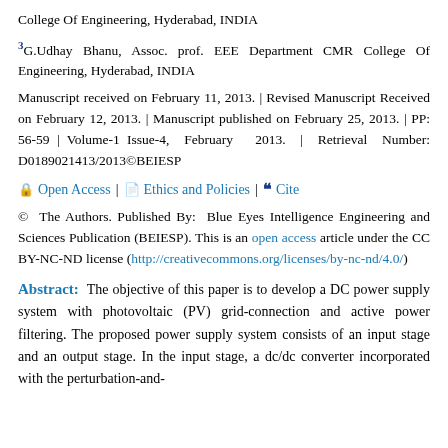College Of Engineering, Hyderabad, INDIA
3G.Udhay Bhanu, Assoc. prof. EEE Department CMR College Of Engineering, Hyderabad, INDIA
Manuscript received on February 11, 2013. | Revised Manuscript Received on February 12, 2013. | Manuscript published on February 25, 2013. | PP: 56-59 | Volume-1 Issue-4, February 2013. | Retrieval Number: D0189021413/2013©BEIESP
Open Access | Ethics and Policies | Cite
© The Authors. Published By: Blue Eyes Intelligence Engineering and Sciences Publication (BEIESP). This is an open access article under the CC BY-NC-ND license (http://creativecommons.org/licenses/by-nc-nd/4.0/)
Abstract: The objective of this paper is to develop a DC power supply system with photovoltaic (PV) grid-connection and active power filtering. The proposed power supply system consists of an input stage and an output stage. In the input stage, a dc/dc converter incorporated with the perturbation-and-